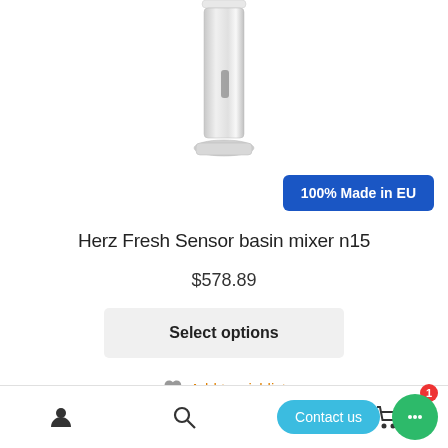[Figure (photo): Chrome sensor basin mixer faucet (Herz Fresh Sensor basin mixer n15) product photo on white background, showing the upper portion of the faucet with sensor strip visible on the body.]
100% Made in EU
Herz Fresh Sensor basin mixer n15
$578.89
Select options
Add to wishlist
Contact us